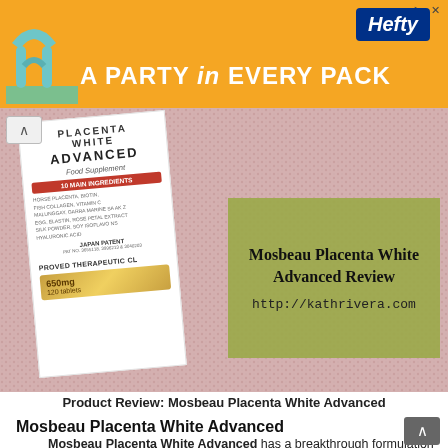[Figure (other): Hefty brand advertisement banner with orange background, logo, and text 'A PARTY in EVERY PACK']
[Figure (photo): Photo of Mosbeau Placenta White Advanced food supplement box (120 tablets, 650mg) on pink knit background, with green overlay box showing 'Mosbeau Placenta White Advanced Review' and URL http://kathrivera.com]
Product Review: Mosbeau Placenta White Advanced
Mosbeau Placenta White Advanced
Mosbeau Placenta White Advanced has a breakthrough formulation that combines the Placenta Protein Collagen, Vitamins C & A,